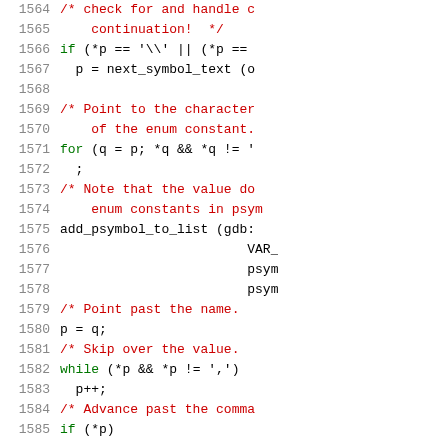[Figure (screenshot): Source code listing showing C code with line numbers 1564-1585. Lines contain code and comments related to enum constant processing in a debugger (gdb). Comments in red, keywords in green, plain code in black.]